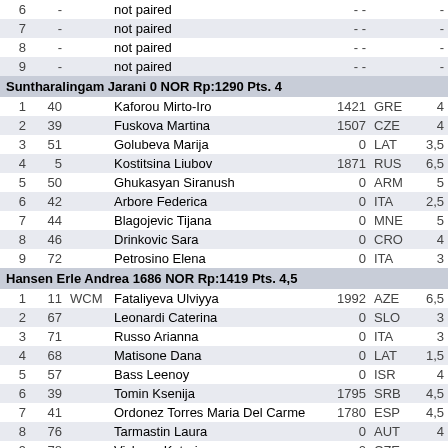| # | ID | Title | Name | Rating | Country | Pts |
| --- | --- | --- | --- | --- | --- | --- |
| 6 | - |  | not paired | - - |  | - |
| 7 | - |  | not paired | - - |  | - |
| 8 | - |  | not paired | - - |  | - |
| 9 | - |  | not paired | - - |  | - |
| Suntharalingam Jarani 0 NOR Rp:1290 Pts. 4 |
| 1 | 40 |  | Kaforou Mirto-Iro | 1421 | GRE | 4 |
| 2 | 39 |  | Fuskova Martina | 1507 | CZE | 4 |
| 3 | 51 |  | Golubeva Marija | 0 | LAT | 3,5 |
| 4 | 5 |  | Kostitsina Liubov | 1871 | RUS | 6,5 |
| 5 | 50 |  | Ghukasyan Siranush | 0 | ARM | 5 |
| 6 | 42 |  | Arbore Federica | 0 | ITA | 2,5 |
| 7 | 44 |  | Blagojevic Tijana | 0 | MNE | 5 |
| 8 | 46 |  | Drinkovic Sara | 0 | CRO | 4 |
| 9 | 72 |  | Petrosino Elena | 0 | ITA | 3 |
| Hansen Erle Andrea 1686 NOR Rp:1419 Pts. 4,5 |
| 1 | 11 | WCM | Fataliyeva Ulviyya | 1992 | AZE | 6,5 |
| 2 | 67 |  | Leonardi Caterina | 0 | SLO | 3 |
| 3 | 71 |  | Russo Arianna | 0 | ITA | 3 |
| 4 | 68 |  | Matisone Dana | 0 | LAT | 1,5 |
| 5 | 57 |  | Bass Leenoy | 0 | ISR | 4 |
| 6 | 39 |  | Tomin Ksenija | 1795 | SRB | 4,5 |
| 7 | 41 |  | Ordonez Torres Maria Del Carme | 1780 | ESP | 4,5 |
| 8 | 76 |  | Tarmastin Laura | 0 | AUT | 4 |
| 9 | 78 |  | ... | 0 | CZE | ... |